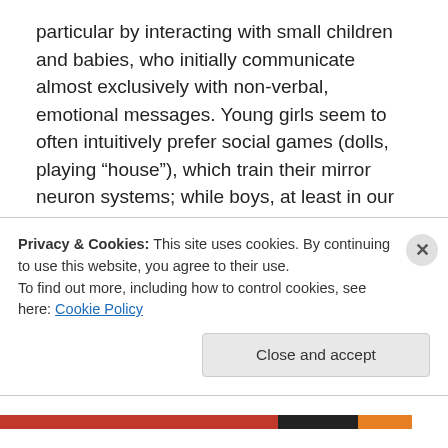particular by interacting with small children and babies, who initially communicate almost exclusively with non-verbal, emotional messages. Young girls seem to often intuitively prefer social games (dolls, playing “house”), which train their mirror neuron systems; while boys, at least in our patriarchal world, frequently prefer technical toys or games based on movement, which train other brain skills. Empathy is the possibility to understand the needs of others without words. It is the trigger for understanding, compassion and the ability to consider things from a different perspective. It motivates us to help
Privacy & Cookies: This site uses cookies. By continuing to use this website, you agree to their use.
To find out more, including how to control cookies, see here: Cookie Policy
Close and accept